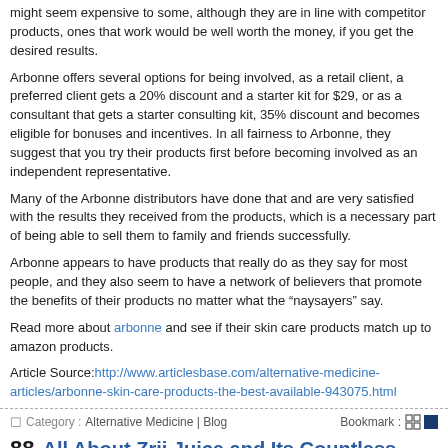might seem expensive to some, although they are in line with competitor products, ones that work would be well worth the money, if you get the desired results.
Arbonne offers several options for being involved, as a retail client, a preferred client gets a 20% discount and a starter kit for $29, or as a consultant that gets a starter consulting kit, 35% discount and becomes eligible for bonuses and incentives. In all fairness to Arbonne, they suggest that you try their products first before becoming involved as an independent representative.
Many of the Arbonne distributors have done that and are very satisfied with the results they received from the products, which is a necessary part of being able to sell them to family and friends successfully.
Arbonne appears to have products that really do as they say for most people, and they also seem to have a network of believers that promote the benefits of their products no matter what the “naysayers” say.
Read more about arbonne and see if their skin care products match up to amazon products.
Article Source:http://www.articlesbase.com/alternative-medicine-articles/arbonne-skin-care-products-the-best-available-943075.html
Category : Alternative Medicine | Blog   Bookmark :
All About Zrii Juice and Its Countless